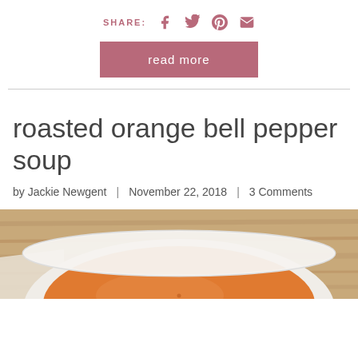SHARE:
read more
roasted orange bell pepper soup
by Jackie Newgent | November 22, 2018 | 3 Comments
[Figure (photo): Bowl of roasted orange bell pepper soup on a wooden background, viewed from above, showing orange-colored soup in a white bowl]